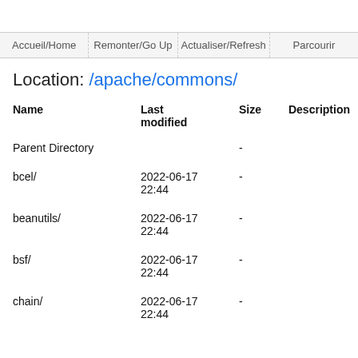Accueil/Home  Remonter/Go Up  Actualiser/Refresh  Parcourir
Location: /apache/commons/
| Name | Last modified | Size | Description |
| --- | --- | --- | --- |
| Parent Directory |  | - |  |
| bcel/ | 2022-06-17 22:44 | - |  |
| beanutils/ | 2022-06-17 22:44 | - |  |
| bsf/ | 2022-06-17 22:44 | - |  |
| chain/ | 2022-06-17 22:44 | - |  |